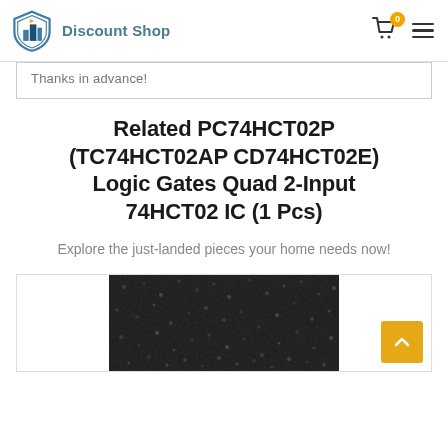Discount Shop
Thanks in advance!
Related PC74HCT02P (TC74HCT02AP CD74HCT02E) Logic Gates Quad 2-Input 74HCT02 IC (1 Pcs)
Explore the just-landed pieces your home needs now!
[Figure (photo): Close-up photo of a dark granular/textured surface, likely electronic component granules or similar material, shown in a product listing image.]